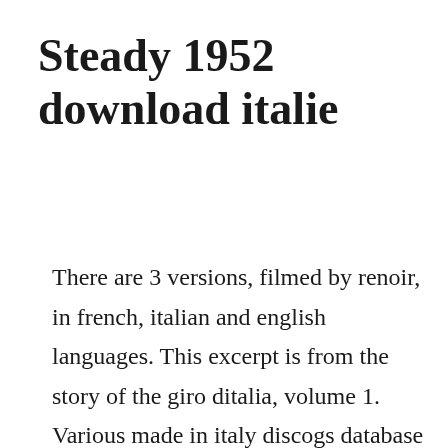Steady 1952 download italie
There are 3 versions, filmed by renoir, in french, italian and english languages. This excerpt is from the story of the giro ditalia, volume 1. Various made in italy discogs database and marketplace. Sam francese accountants on the gold coast australia sam francese accounting on the gold coast